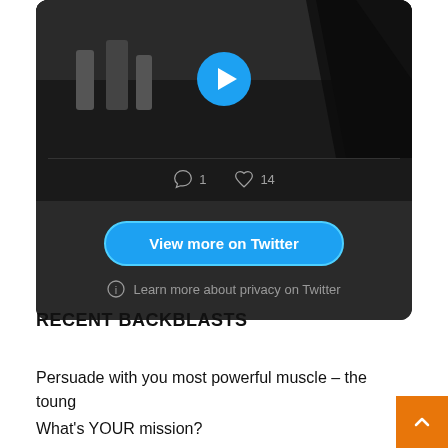[Figure (screenshot): Twitter embed widget showing a black and white video thumbnail with a play button, comment count 1 and like count 14, a 'View more on Twitter' button, and a privacy notice.]
RECENT BACKBLASTS
Persuade with you most powerful muscle – the toung
What's YOUR mission?